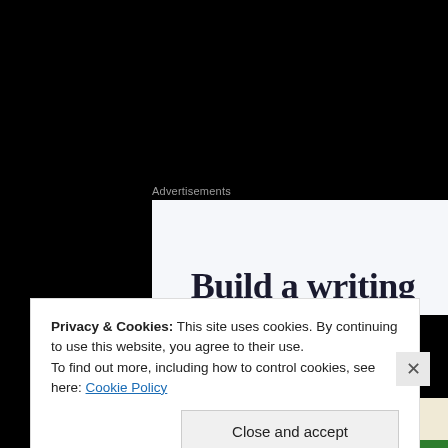Advertisements
[Figure (screenshot): Advertisement banner with white/light gray background showing partial text 'Build a writing' in large dark serif font]
Overall Rating – 7/10
Advertisements
[Figure (screenshot): Advertisement banner with cream/beige background showing partial text 'Professionally' in large dark serif font]
Privacy & Cookies: This site uses cookies. By continuing to use this website, you agree to their use.
To find out more, including how to control cookies, see here: Cookie Policy
Close and accept